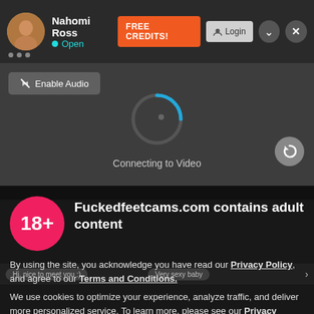Nahomi Ross • Open | FREE CREDITS! | Login
Enable Audio
[Figure (screenshot): Loading spinner / connecting to video indicator with circular progress arc in blue on dark background]
Connecting to Video
[Figure (infographic): 18+ age restriction circle badge in pink/red]
Fuckedfeetcams.com contains adult content
By using the site, you acknowledge you have read our Privacy Policy, and agree to our Terms and Conditions.
We use cookies to optimize your experience, analyze traffic, and deliver more personalized service. To learn more, please see our Privacy Policy.
I AGREE